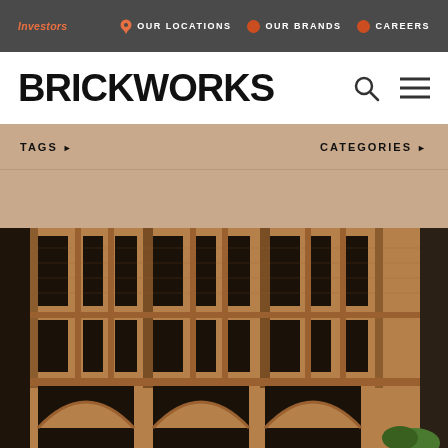Investors | OUR LOCATIONS | OUR BRANDS | CAREERS
BRICKWORKS
TAGS ▶   CATEGORIES ▶
[Figure (photo): Exterior facade of a multi-storey brick building featuring tall rectangular windows on upper floors and arched openings at ground level, with ornate brick columns and detailing.]